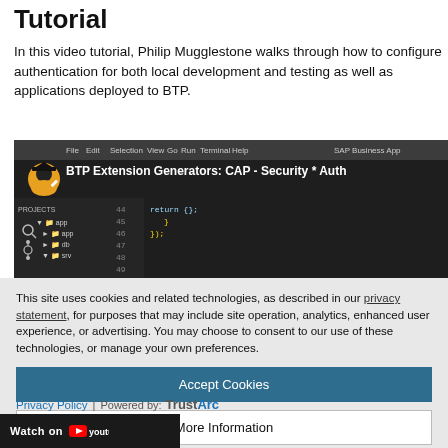Tutorial
In this video tutorial, Philip Mugglestone walks through how to configure authentication for both local development and testing as well as applications deployed to BTP.
[Figure (screenshot): Screenshot of a video thumbnail showing VS Code IDE with file explorer and code editor open. Title reads 'BTP Extension Generators: CAP - Security * Auth'. Shows code with line numbers 44-49, return {}; and }); visible. IDE menu bar shows File, Edit, Selection, View, Go, Run, Terminal, Help, SAP Business App. User avatar with graduation cap icon visible.]
This site uses cookies and related technologies, as described in our privacy statement, for purposes that may include site operation, analytics, enhanced user experience, or advertising. You may choose to consent to our use of these technologies, or manage your own preferences.
Accept Cookies
More Information
Privacy Policy | Powered by: TrustArc
Watch on YouTube